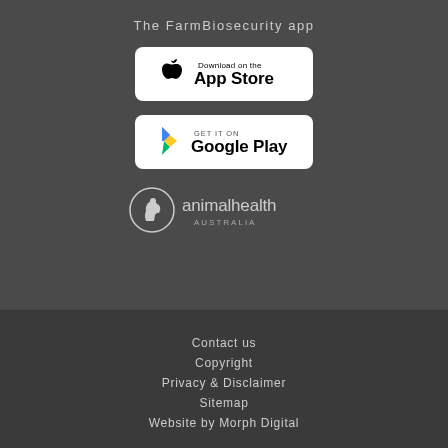The FarmBiosecurity app
[Figure (logo): Download on the App Store badge]
[Figure (logo): Get it on Google Play badge]
[Figure (logo): Animal Health Australia logo]
Contact us
Copyright
Privacy & Disclaimer
Sitemap
Website by Morph Digital